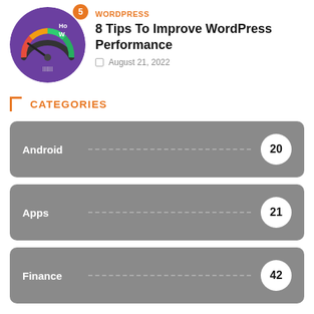[Figure (illustration): Circular purple thumbnail showing a speedometer/gauge icon with colored arc, on a purple background. Orange notification badge with '5' in top right.]
WORDPRESS
8 Tips To Improve WordPress Performance
August 21, 2022
CATEGORIES
Android ... 20
Apps ... 21
Finance ... 42